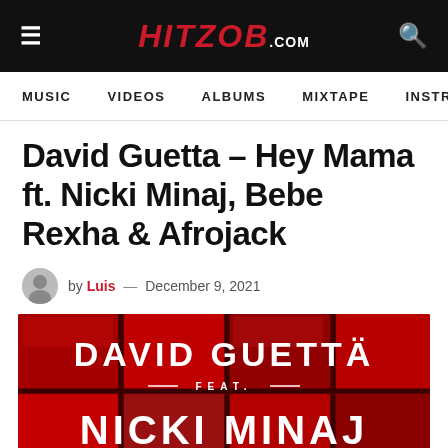HITZOB.COM
MUSIC   VIDEOS   ALBUMS   MIXTAPE   INSTRU
David Guetta – Hey Mama ft. Nicki Minaj, Bebe Rexha & Afrojack
by Luis — December 9, 2021
[Figure (photo): Album art cover for David Guetta Hey Mama featuring Nicki Minaj, showing red background with grid/window pattern and white text reading DAVID GUETTA FEAT. NICKI MINAJ]